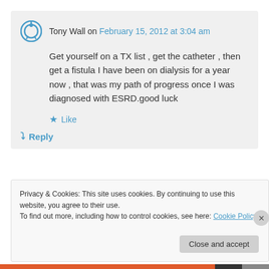Tony Wall on February 15, 2012 at 3:04 am
Get yourself on a TX list , get the catheter , then get a fistula I have been on dialysis for a year now , that was my path of progress once I was diagnosed with ESRD.good luck
★ Like
↳ Reply
Privacy & Cookies: This site uses cookies. By continuing to use this website, you agree to their use.
To find out more, including how to control cookies, see here: Cookie Policy
Close and accept